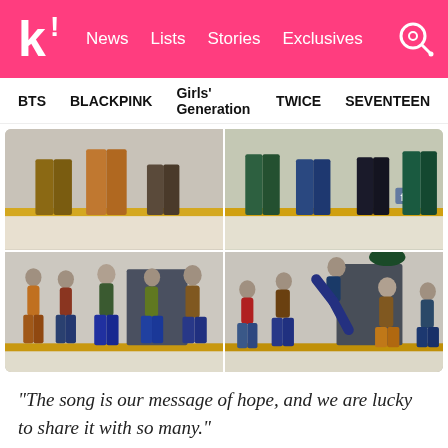K! News  Lists  Stories  Exclusives
BTS  BLACKPINK  Girls' Generation  TWICE  SEVENTEEN
[Figure (photo): Four-panel photo collage of BTS members dancing and posing outdoors near a building with a yellow stripe, wearing retro-style colorful outfits. Top-left and top-right panels show their lower halves/legs; bottom-left and bottom-right panels show full-body action poses and dance moves.]
“The song is our message of hope, and we are lucky to share it with so many.”
[Figure (photo): Partially visible bottom image showing what appears to be food items on a table, blurred/bokeh background.]